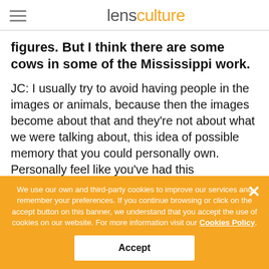lensculture
figures. But I think there are some cows in some of the Mississippi work.
JC: I usually try to avoid having people in the images or animals, because then the images become about that and they're not about what we were talking about, this idea of possible memory that you could personally own. Personally feel like you've had this experience, and this is reminiscent of something in your life or something that you've experienced. You can't do that. You can't take ownership of the images
We use our own and third-party cookies to improve our services and remember your preferences. If you continue browsing or click on the accept button on this banner, we understand that you accept the use of cookies on our website. For more information visit our Cookies Policy.
Accept